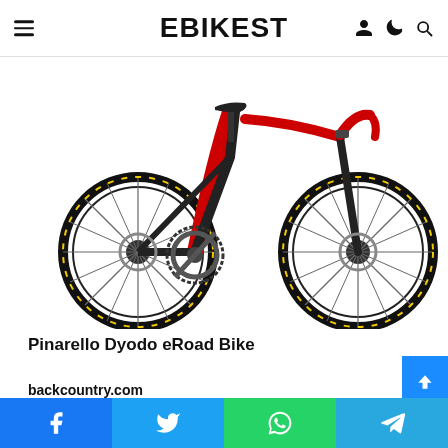EBIKEST
[Figure (photo): Pinarello Dyodo eRoad Bike — a black and red road bike with carbon frame, disc brakes, and PINARELLO branding on the down tube and wheels]
Pinarello Dyodo eRoad Bike
backcountry.com